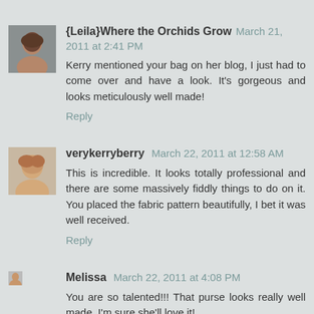{Leila}Where the Orchids Grow  March 21, 2011 at 2:41 PM
Kerry mentioned your bag on her blog, I just had to come over and have a look. It's gorgeous and looks meticulously well made!
Reply
verykerryberry  March 22, 2011 at 12:58 AM
This is incredible. It looks totally professional and there are some massively fiddly things to do on it. You placed the fabric pattern beautifully, I bet it was well received.
Reply
Melissa  March 22, 2011 at 4:08 PM
You are so talented!!! That purse looks really well made. I'm sure she'll love it!